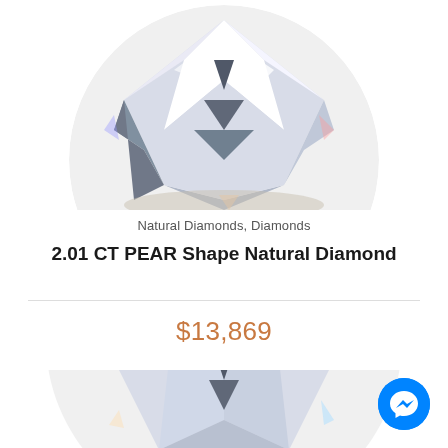[Figure (photo): Close-up photo of a pear-shaped natural diamond showing facets and light reflections, top portion cropped, circular shape visible]
Natural Diamonds, Diamonds
2.01 CT PEAR Shape Natural Diamond
$13,869
[Figure (photo): Close-up photo of a round natural diamond showing facets and light reflections, bottom portion partially visible]
[Figure (illustration): Messenger chat button icon, circular blue button with white lightning bolt messenger logo]